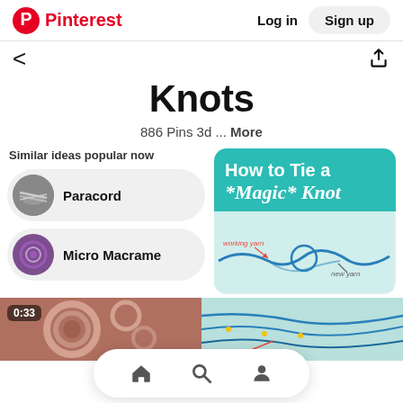Pinterest  Log in  Sign up
Knots
886 Pins 3d ... More
Similar ideas popular now
Paracord
Micro Macrame
[Figure (screenshot): Pinterest pin card showing 'How to Tie a *Magic* Knot' tutorial on teal background with yarn diagram below]
[Figure (photo): Bottom-left thumbnail with timestamp 0:33 showing coiled yarn/rope]
Home, Search, Profile navigation icons